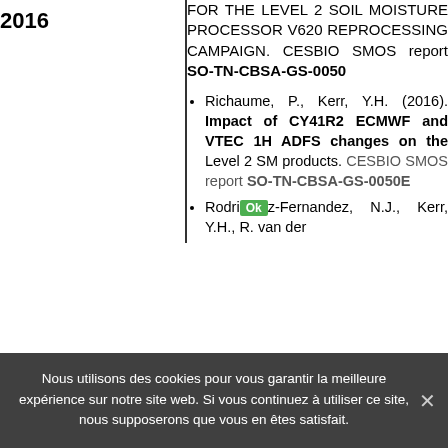FOR THE LEVEL 2 SOIL MOISTURE PROCESSOR V620 REPROCESSING CAMPAIGN. CESBIO SMOS report SO-TN-CBSA-GS-0050
2016
Richaume, P., Kerr, Y.H. (2016). Impact of CY41R2 ECMWF and VTEC 1H ADFS changes on the Level 2 SM products. CESBIO SMOS report SO-TN-CBSA-GS-0050E
Rodriguez-Fernandez, N.J., Kerr, Y.H., R. van der ...